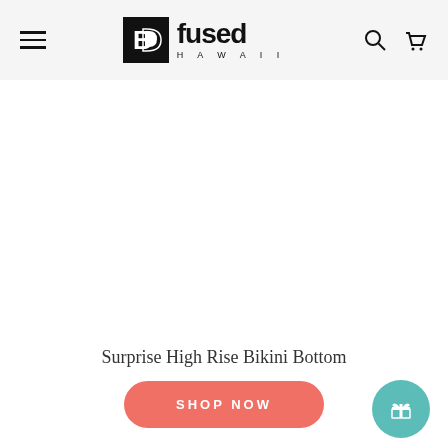Fused Hawaii — navigation header with hamburger menu, logo, search, and cart icons
[Figure (photo): White/blank product image area (no product image loaded)]
Surprise High Rise Bikini Bottom
SHOP NOW